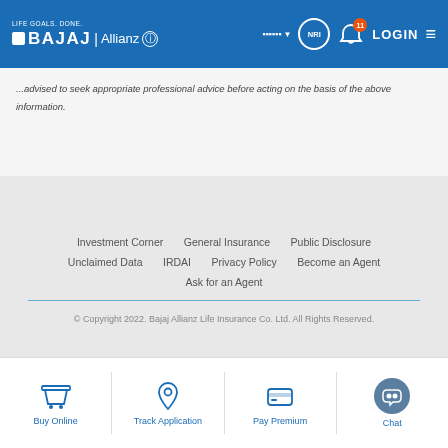LIFE GOALS. DONE. BAJAJ | Allianz — LOGIN
...advised to seek appropriate professional advice before acting on the basis of the above information.
Investment Corner
General Insurance
Public Disclosure
Unclaimed Data
IRDAI
Privacy Policy
Become an Agent
Ask for an Agent
© Copyright 2022. Bajaj Allianz Life Insurance Co. Ltd. All Rights Reserved.
BEWARE OF SPURIOUS PHONE CALLS AND FICTITIOUS /
[Figure (infographic): Bottom navigation bar with four icons: Buy Online (shopping cart), Track Application (location pin), Pay Premium (wallet), Chat (headset)]